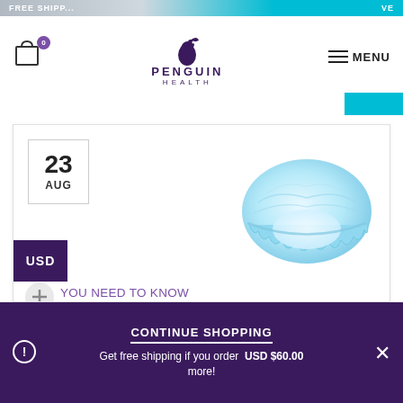FREE SHIPPING
[Figure (logo): Penguin Health logo with stylized penguin/duck silhouette in purple and text PENGUIN HEALTH]
MENU
23 AUG
USD
YOU NEED TO KNOW ABOUT BOUFFANT CAPS
[Figure (photo): Light blue bouffant cap / disposable hair net cap shown from above]
CONTINUE SHOPPING
Get free shipping if you order USD $60.00 more!